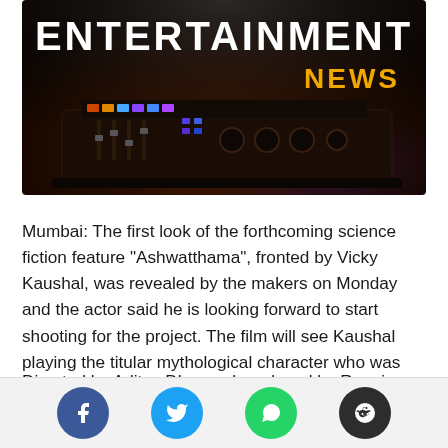[Figure (photo): Entertainment News header banner with DJ equipment in dark background, title 'ENTERTAINMENT' in white and 'NEWS' in gold/yellow]
Mumbai: The first look of the forthcoming science fiction feature “Ashwatthama”, fronted by Vicky Kaushal, was revealed by the makers on Monday and the actor said he is looking forward to start shooting for the project. The film will see Kaushal playing the titular mythological character who was given the boon of immortality.
Directed by Aditya Dhar and produced by Ronnie Screwvala, “Ashwatthama” is described as a “futuristic”...
[Figure (infographic): Social media share buttons: Facebook (blue), Twitter (cyan), WhatsApp (green), Reddit (dark)]